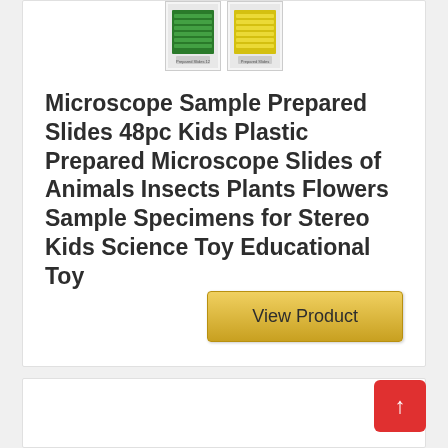[Figure (photo): Two product thumbnail images of microscope prepared slides. Left thumbnail shows green-packaged slides, right thumbnail shows yellow slides.]
Microscope Sample Prepared Slides 48pc Kids Plastic Prepared Microscope Slides of Animals Insects Plants Flowers Sample Specimens for Stereo Kids Science Toy Educational Toy
View Product